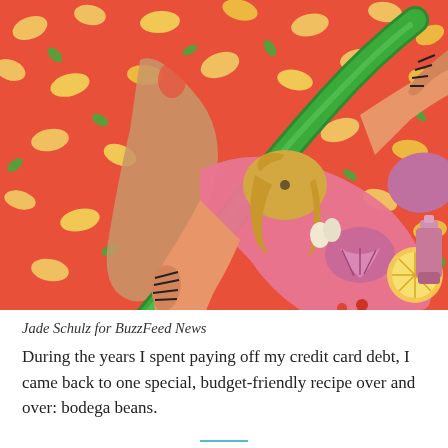[Figure (illustration): Colorful painted illustration showing a person in a pink outfit holding a large green leek or similar vegetable diagonally across the composition. The background is orange-red filled with yellow bean shapes and green herb sprigs. A cutting board, onion, lemon slice, and pepper grinder are visible.]
Jade Schulz for BuzzFeed News
During the years I spent paying off my credit card debt, I came back to one special, budget-friendly recipe over and over: bodega beans.